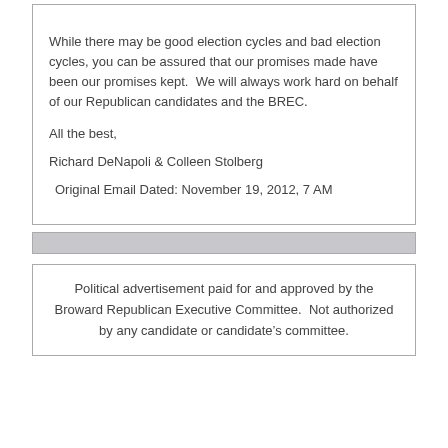While there may be good election cycles and bad election cycles, you can be assured that our promises made have been our promises kept.  We will always work hard on behalf of our Republican candidates and the BREC.
All the best,
Richard DeNapoli & Colleen Stolberg
Original Email Dated: November 19, 2012, 7 AM
Political advertisement paid for and approved by the Broward Republican Executive Committee.  Not authorized by any candidate or candidate's committee.